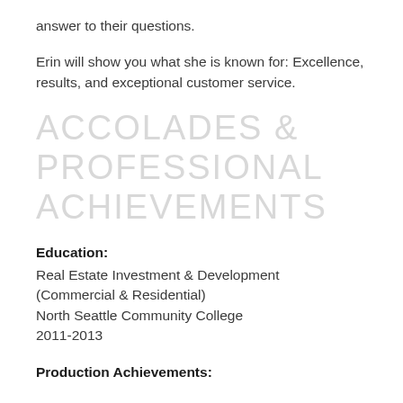answer to their questions.
Erin will show you what she is known for: Excellence, results, and exceptional customer service.
ACCOLADES & PROFESSIONAL ACHIEVEMENTS
Education:
Real Estate Investment & Development (Commercial & Residential)
North Seattle Community College
2011-2013
Production Achievements: